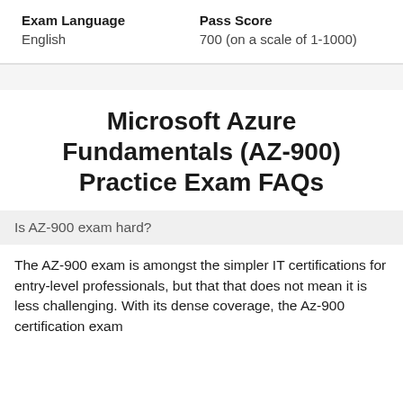| Exam Language | Pass Score |
| --- | --- |
| English | 700 (on a scale of 1-1000) |
Microsoft Azure Fundamentals (AZ-900) Practice Exam FAQs
Is AZ-900 exam hard?
The AZ-900 exam is amongst the simpler IT certifications for entry-level professionals, but that that does not mean it is less challenging. With its dense coverage, the Az-900 certification exam